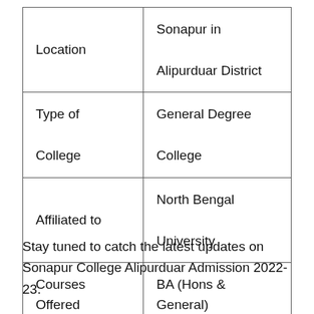| Location | Sonapur in Alipurduar District |
| Type of College | General Degree College |
| Affiliated to | North Bengal University |
| Courses Offered | BA (Hons & General) |
Stay tuned to catch the latest updates on Sonapur College Alipurduar Admission 2022-23.